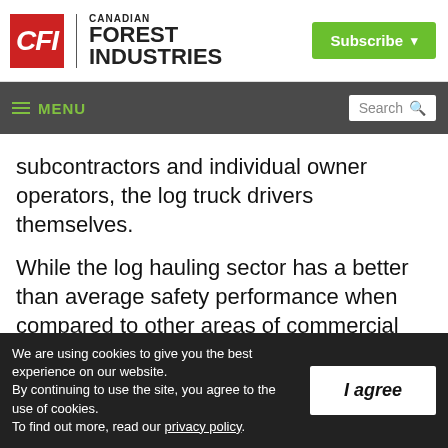[Figure (logo): Canadian Forest Industries (CFI) logo with red CFI box on left and publication name on right, plus green Subscribe button]
≡ MENU  Search
subcontractors and individual owner operators, the log truck drivers themselves.
While the log hauling sector has a better than average safety performance when compared to other areas of commercial trucking, a lot more work is needed to further reduce
We are using cookies to give you the best experience on our website.
By continuing to use the site, you agree to the use of cookies.
To find out more, read our privacy policy.